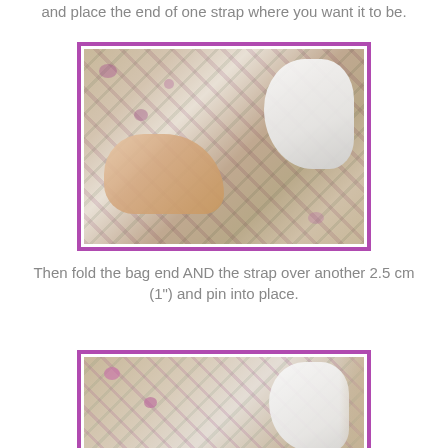and place the end of one strap where you want it to be.
[Figure (photo): Close-up photo of hands holding floral fabric bag strap, showing positioning of strap end against bag fabric with purple floral pattern]
Then fold the bag end AND the strap over another 2.5 cm (1") and pin into place.
[Figure (photo): Close-up photo of floral fabric bag showing folded bag end with strap pinned into place, purple floral pattern visible]